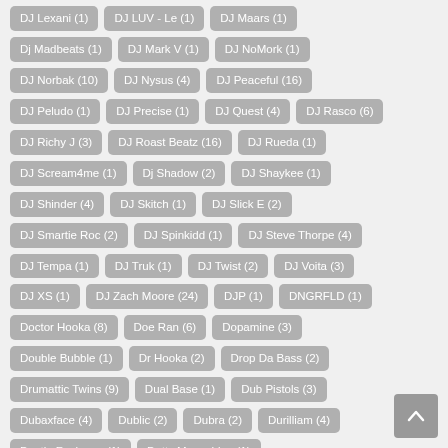DJ Lexani (1)
DJ LUV - Le (1)
DJ Maars (1)
Dj Madbeats (1)
DJ Mark V (1)
DJ NoMork (1)
DJ Norbak (10)
DJ Nysus (4)
DJ Peaceful (16)
DJ Peludo (1)
DJ Precise (1)
DJ Quest (4)
DJ Rasco (6)
DJ Richy J (3)
DJ Roast Beatz (16)
DJ Rueda (1)
DJ Scream4me (1)
Dj Shadow (2)
DJ Shaykee (1)
DJ Shinder (4)
DJ Skitch (1)
DJ Slick E (2)
DJ Smartie Roc (2)
DJ Spinkidd (1)
DJ Steve Thorpe (4)
DJ Tempa (1)
DJ Truk (1)
DJ Twist (2)
DJ Voita (3)
DJ XS (1)
DJ Zach Moore (24)
DJP (1)
DNGRFLD (1)
Doctor Hooka (8)
Doe Ran (6)
Dopamine (3)
Double Bubble (1)
Dr Hooka (2)
Drop Da Bass (2)
Drumattic Twins (9)
Dual Base (1)
Dub Pistols (3)
Dubaxface (4)
Dublic (2)
Dubra (2)
Durilliam (4)
Dustin Funkman (1)
Dutty Moonshine (1)
Dylan Rhymes (1)
Eddie Light (7)
Efocus (2)
EK (1)